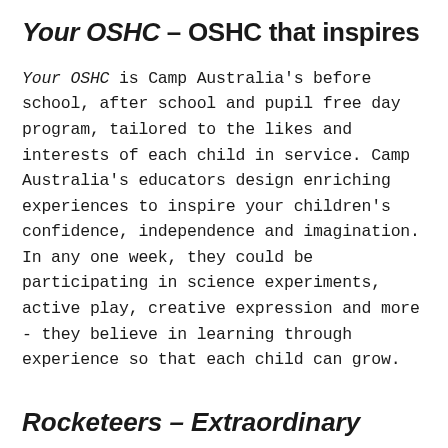Your OSHC – OSHC that inspires
Your OSHC is Camp Australia's before school, after school and pupil free day program, tailored to the likes and interests of each child in service. Camp Australia's educators design enriching experiences to inspire your children's confidence, independence and imagination. In any one week, they could be participating in science experiments, active play, creative expression and more - they believe in learning through experience so that each child can grow.
Rocketeers – Extraordinary